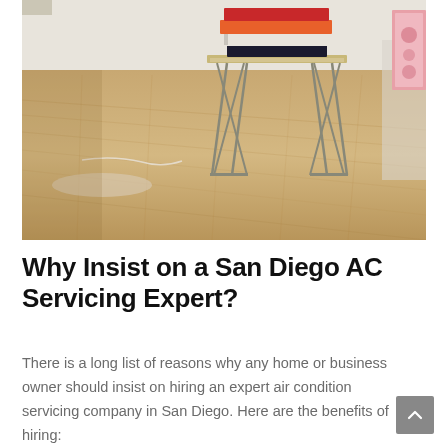[Figure (photo): Interior room photo showing warm oak hardwood floor planks with a wire-frame side table in the background holding a stack of colorful books. A pink-framed artwork is partially visible on the right wall.]
Why Insist on a San Diego AC Servicing Expert?
There is a long list of reasons why any home or business owner should insist on hiring an expert air condition servicing company in San Diego. Here are the benefits of hiring: